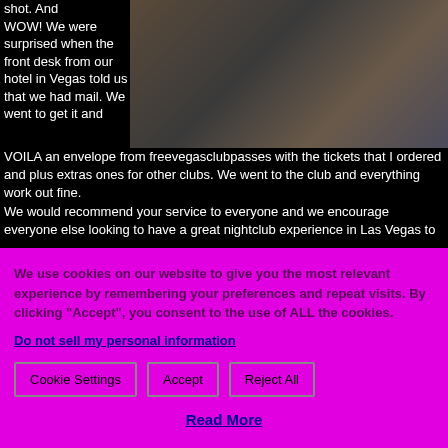shot. And WOW! We were surprised when the front desk from our hotel in Vegas told us that we had mail. We went to get it and VOILA an envelope from freevegasclubpasses with the tickets that I ordered and plus extras ones for other clubs. We went to the club and everything work out fine.
We would recommend your service to everyone and we encourage everyone else looking to have a great nightclub experience in Las Vegas to
[Figure (photo): Photo of a smiling couple (man and woman) at what appears to be a nightclub or bar setting]
We use cookies on our website to give you the most relevant experience by remembering your preferences and repeat visits. By clicking "Accept", you consent to the use of ALL the cookies.
Do not sell my personal information
Cookie Settings
Accept
Reject All
Read More